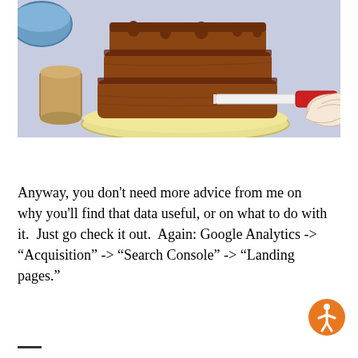[Figure (illustration): Cartoon/animated illustration of a chocolate layer cake on a yellow plate being frosted with a red-handled knife. A mug and blue bowl are visible in the background on a light purple/blue table surface.]
Anyway, you don't need more advice from me on why you'll find that data useful, or on what to do with it.  Just go check it out.  Again: Google Analytics -> “Acquisition” -> “Search Console” -> “Landing pages.”